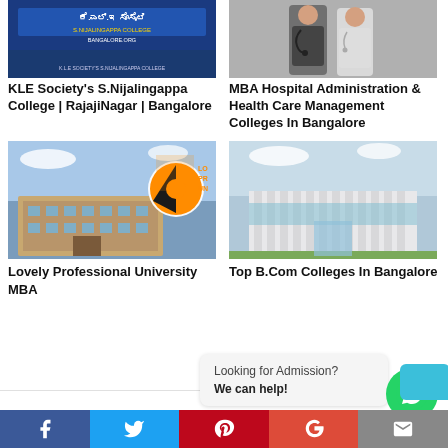[Figure (photo): KLE Society's S.Nijalingappa College building sign in blue with Kannada text]
KLE Society's S.Nijalingappa College | RajajiNagar | Bangalore
[Figure (photo): Two doctors/medical professionals standing, one with stethoscope]
MBA Hospital Administration & Health Care Management Colleges In Bangalore
[Figure (photo): Lovely Professional University building with LPU logo/sign]
Lovely Professional University MBA
[Figure (photo): Modern white university/college building exterior]
Top B.Com Colleges In Bangalore
Looking for Admission?
We can help!